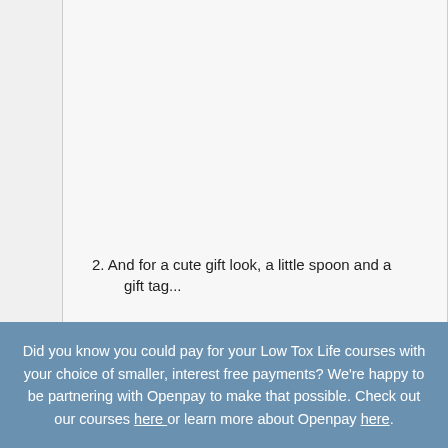[Figure (other): Large blank/white content area representing an image placeholder in a document page]
2. And for a cute gift look, a little spoon and a gift tag...
Did you know you could pay for your Low Tox Life courses with your choice of smaller, interest free payments? We're happy to be partnering with Openpay to make that possible. Check out our courses here or learn more about Openpay here.